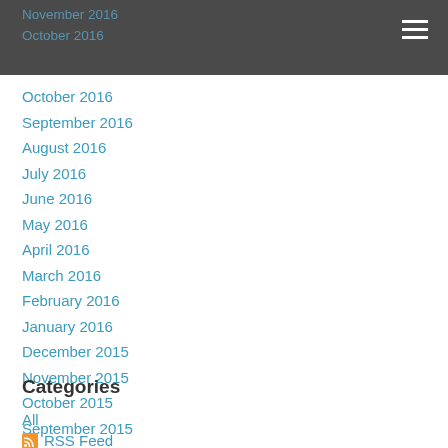November 2016 / October 2016
October 2016
September 2016
August 2016
July 2016
June 2016
May 2016
April 2016
March 2016
February 2016
January 2016
December 2015
November 2015
October 2015
September 2015
Categories
All
RSS Feed